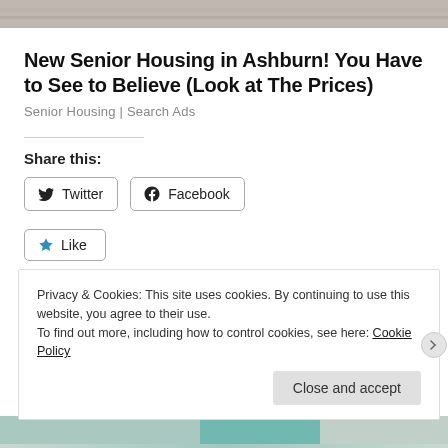[Figure (photo): Top partial image showing a grey/beige textured surface, likely a housing or outdoor scene]
New Senior Housing in Ashburn! You Have to See to Believe (Look at The Prices)
Senior Housing | Search Ads
Share this:
Twitter
Facebook
Like
Be the first to like this.
Privacy & Cookies: This site uses cookies. By continuing to use this website, you agree to their use.
To find out more, including how to control cookies, see here: Cookie Policy
Close and accept
[Figure (photo): Bottom partial image showing a teal/green outdoor scene]